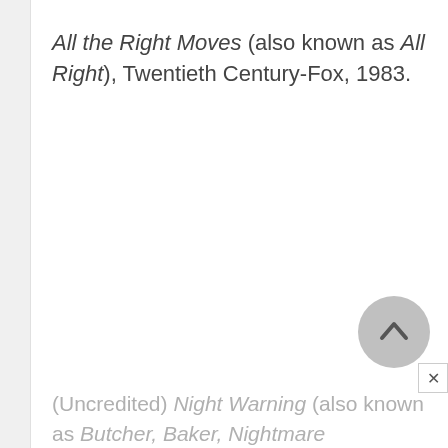All the Right Moves (also known as All Right), Twentieth Century-Fox, 1983.
(Uncredited) Night Warning (also known as Butcher, Baker, Nightmare